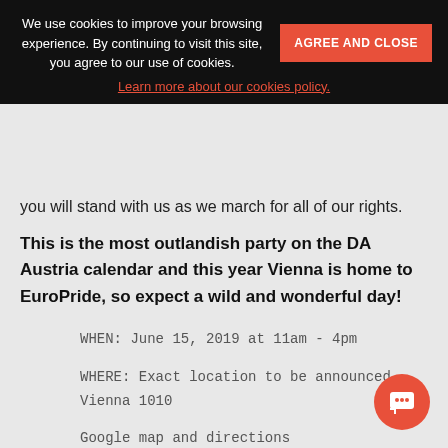We use cookies to improve your browsing experience. By continuing to visit this site, you agree to our use of cookies.
AGREE AND CLOSE
Learn more about our cookies policy.
you will stand with us as we march for all of our rights.
This is the most outlandish party on the DA Austria calendar and this year Vienna is home to EuroPride, so expect a wild and wonderful day!
WHEN: June 15, 2019 at 11am - 4pm
WHERE: Exact location to be announced.
Vienna 1010
Google map and directions
CONTACT: Joey Eckhart ·
lgbt@democratsabroad.at